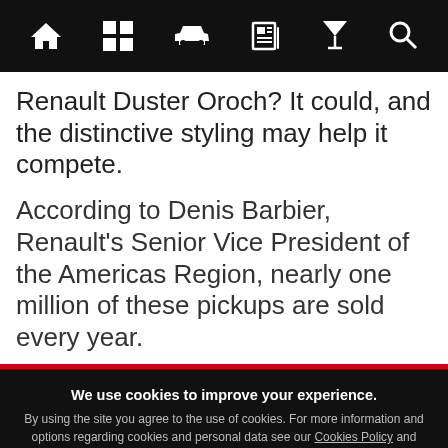[Navigation bar with home, grid, car, newspaper, cocktail, and search icons]
Renault Duster Oroch? It could, and the distinctive styling may help it compete.
According to Denis Barbier, Renault's Senior Vice President of the Americas Region, nearly one million of these pickups are sold every year.
We use cookies to improve your experience. By using the site you agree to the use of cookies. For more information and options regarding cookies and personal data see our Cookies Policy and Privacy Policy
Accept cookies & close
California residents: Do Not Sell My Info